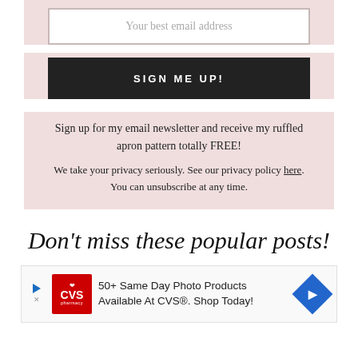[Figure (screenshot): Email input field with placeholder text 'Your best email address' on pink background]
[Figure (screenshot): Black button with text 'SIGN ME UP!']
Sign up for my email newsletter and receive my ruffled apron pattern totally FREE!
We take your privacy seriously. See our privacy policy here. You can unsubscribe at any time.
Don't miss these popular posts!
[Figure (screenshot): CVS pharmacy advertisement: '50+ Same Day Photo Products Available At CVS®. Shop Today!']